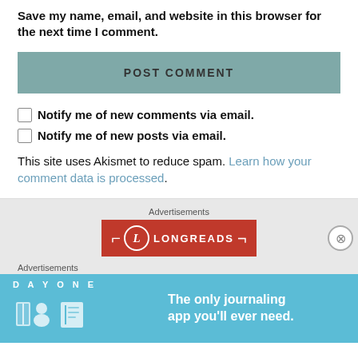Save my name, email, and website in this browser for the next time I comment.
POST COMMENT
Notify me of new comments via email.
Notify me of new posts via email.
This site uses Akismet to reduce spam. Learn how your comment data is processed.
Advertisements
[Figure (logo): Longreads advertisement banner with red background and white Longreads logo text]
Advertisements
[Figure (illustration): Day One journaling app advertisement with light blue background, app icons, and text 'The only journaling app you'll ever need.']